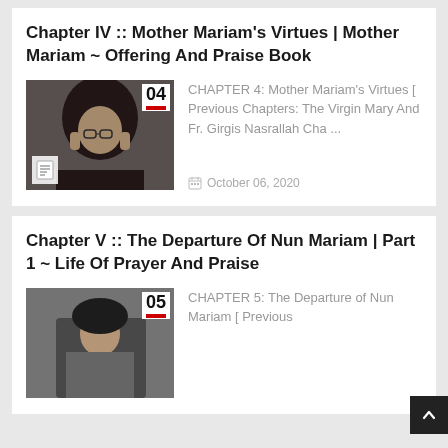Chapter IV :: Mother Mariam's Virtues | Mother Mariam ~ Offering And Praise Book
[Figure (photo): Thumbnail image of Mother Mariam in dark religious habit with glasses, chapter 04 badge and document icon overlay]
CHAPTER 4: Mother Mariam's Virtues [ Previous Chapters: The Virgin Mary And Fr. Girgis Nasrallah Cha ...
October 06, 2020
Chapter V :: The Departure Of Nun Mariam | Part 1 ~ Life Of Prayer And Praise
[Figure (photo): Thumbnail image of a nun in grey/black religious habit, chapter 05 badge]
CHAPTER 5: The Departure of Nun Mariam [ Previous